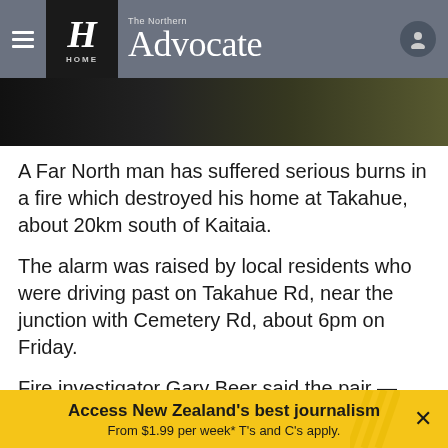The Northern Advocate — HOME
[Figure (photo): Dark photo strip, partially visible image of a fire scene]
A Far North man has suffered serious burns in a fire which destroyed his home at Takahue, about 20km south of Kaitaia.
The alarm was raised by local residents who were driving past on Takahue Rd, near the junction with Cemetery Rd, about 6pm on Friday.
Fire investigator Gary Beer said the pair — thought to be a father and daughter — called 111 and performed first aid until an ambulance arrived.
Access New Zealand's best journalism From $1.99 per week* T's and C's apply.